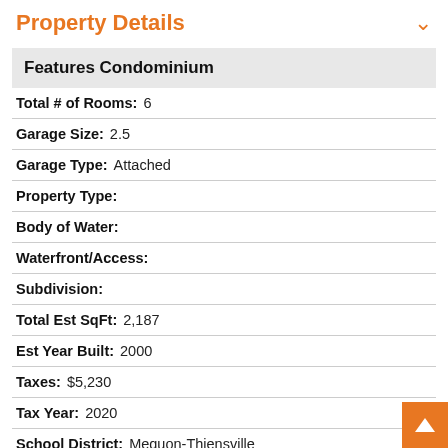Property Details
Features Condominium
Total # of Rooms: 6
Garage Size: 2.5
Garage Type: Attached
Property Type:
Body of Water:
Waterfront/Access:
Subdivision:
Total Est SqFt: 2,187
Est Year Built: 2000
Taxes: $5,230
Tax Year: 2020
School District: Mequon-Thiensville